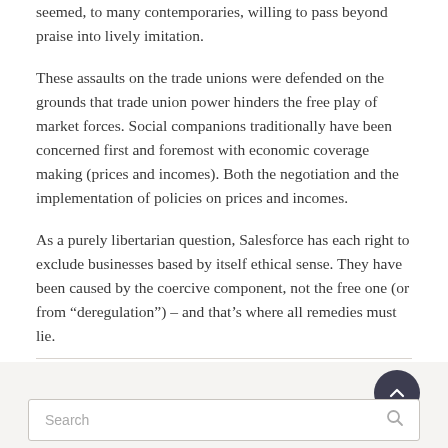seemed, to many contemporaries, willing to pass beyond praise into lively imitation.
These assaults on the trade unions were defended on the grounds that trade union power hinders the free play of market forces. Social companions traditionally have been concerned first and foremost with economic coverage making (prices and incomes). Both the negotiation and the implementation of policies on prices and incomes.
As a purely libertarian question, Salesforce has each right to exclude businesses based by itself ethical sense. They have been caused by the coercive component, not the free one (or from “deregulation”) – and that’s where all remedies must lie.
Sometimes the state takes … Read More